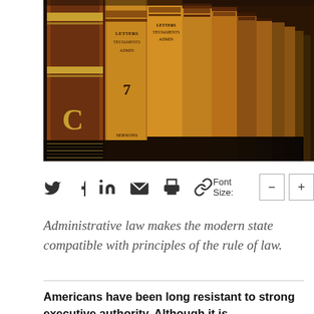[Figure (photo): Row of old law books on a shelf, spines visible with gold lettering and decorative binding, amber and brown tones]
Social media share icons (Twitter, Facebook, LinkedIn, Email, Print, Link) and Font Size controls (minus and plus buttons)
Administrative law makes the modern state compatible with principles of the rule of law.
Americans have been long resistant to strong executive authority. Although it is understandable that Americans would favor a system of strict separation of powers